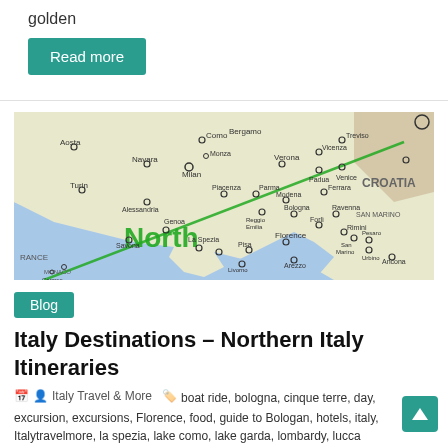golden
Read more
[Figure (map): Map of Northern Italy showing cities including Milan, Turin, Bologna, Florence, Verona, Venice, Genoa and surrounding regions. A green diagonal line crosses the map from lower-left to upper-right. Text 'North' appears in large green letters in the lower-left portion. Countries labeled include CROATIA and regions FRANCE, MONACO, SAN MARINO visible at edges.]
Blog
Italy Destinations – Northern Italy Itineraries
Italy Travel & More   boat ride, bologna, cinque terre, day, excursion, excursions, Florence, food, guide to Bologan, hotels, italy, Italytravelmore, la spezia, lake como, lake garda, lombardy, lucca